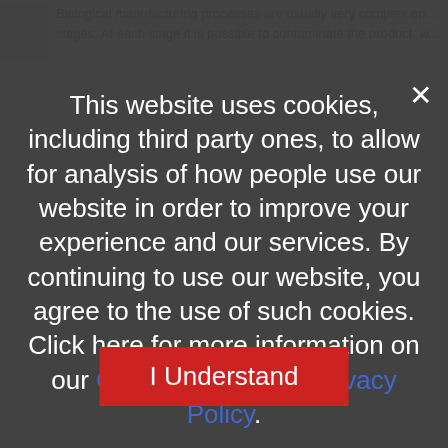Biological manufacturing processes are usually very complex op... stages. At each stage it is possible to contaminate the product, w...
This website uses cookies, including third party ones, to allow for analysis of how people use our website in order to improve your experience and our services. By continuing to use our website, you agree to the use of such cookies. Click here for more information on our Cookie Policy and Privacy Policy.
I Understand